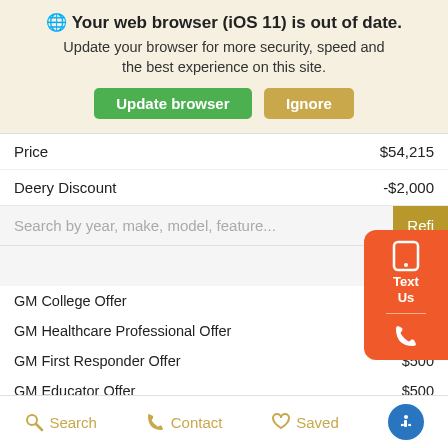🌐 Your web browser (iOS 11) is out of date. Update your browser for more security, speed and the best experience on this site.
Update browser | Ignore
| Item | Price |
| --- | --- |
| Price | $54,215 |
| Deery Discount | -$2,000 |
Search by year, make, model, feature...  Refi
| Offer | Value |
| --- | --- |
| GM College Offer |  |
| GM Healthcare Professional Offer | $500 |
| GM First Responder Offer | $500 |
| GM Educator Offer | $500 |
| GM Military Offer | $500 |
Search  Contact  Saved  [Accessibility]